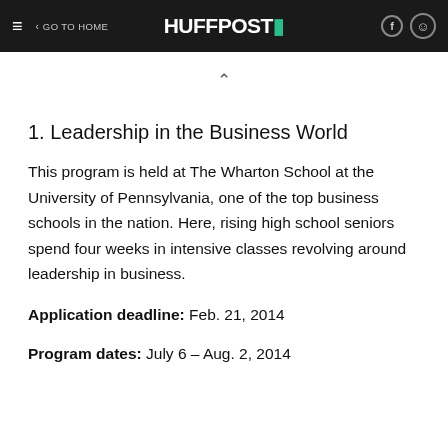≡  < GO TO HOME  HUFFPOST  (facebook icon) (user icon)
1. Leadership in the Business World
This program is held at The Wharton School at the University of Pennsylvania, one of the top business schools in the nation. Here, rising high school seniors spend four weeks in intensive classes revolving around leadership in business.
Application deadline: Feb. 21, 2014
Program dates: July 6 – Aug. 2, 2014